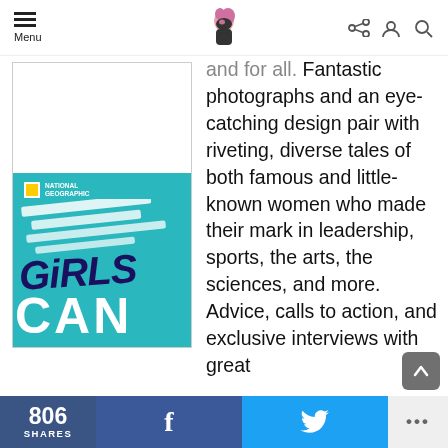Menu | [logo] | [share icon] [user icon] [search icon]
[Figure (photo): Book cover of 'Girls Can!' published by National Geographic, teal/turquoise background with white scratch-like patterns and bold title text]
and for all. Fantastic photographs and an eye-catching design pair with riveting, diverse tales of both famous and little-known women who made their mark in leadership, sports, the arts, the sciences, and more. Advice, calls to action, and exclusive interviews with great
806 SHARES | f | [Twitter bird] | ...